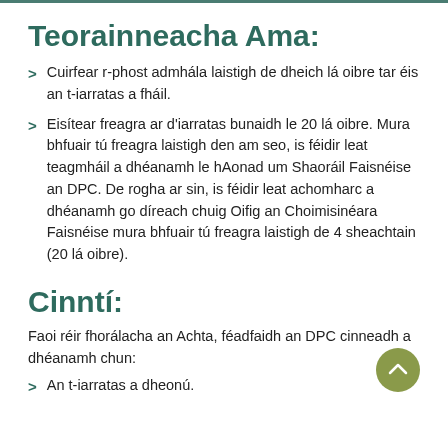Teorainneacha Ama:
Cuirfear r-phost admhála laistigh de dheich lá oibre tar éis an t-iarratas a fháil.
Eisítear freagra ar d'iarratas bunaidh le 20 lá oibre. Mura bhfuair tú freagra laistigh den am seo, is féidir leat teagmháil a dhéanamh le hAonad um Shaoráil Faisnéise an DPC. De rogha ar sin, is féidir leat achomharc a dhéanamh go díreach chuig Oifig an Choimisinéara Faisnéise mura bhfuair tú freagra laistigh de 4 sheachtain (20 lá oibre).
Cinntí:
Faoi réir fhorálacha an Achta, féadfaidh an DPC cinneadh a dhéanamh chun:
An t-iarratas a dheonú.